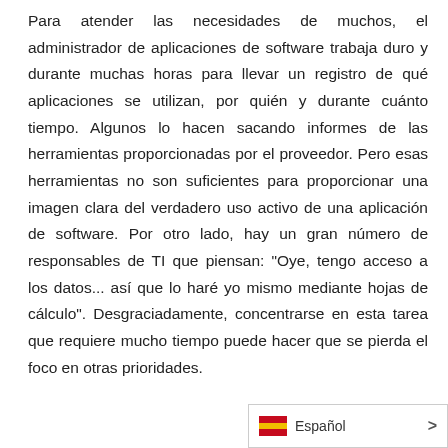Para atender las necesidades de muchos, el administrador de aplicaciones de software trabaja duro y durante muchas horas para llevar un registro de qué aplicaciones se utilizan, por quién y durante cuánto tiempo. Algunos lo hacen sacando informes de las herramientas proporcionadas por el proveedor. Pero esas herramientas no son suficientes para proporcionar una imagen clara del verdadero uso activo de una aplicación de software. Por otro lado, hay un gran número de responsables de TI que piensan: "Oye, tengo acceso a los datos... así que lo haré yo mismo mediante hojas de cálculo". Desgraciadamente, concentrarse en esta tarea que requiere mucho tiempo puede hacer que se pierda el foco en otras prioridades.
Español >